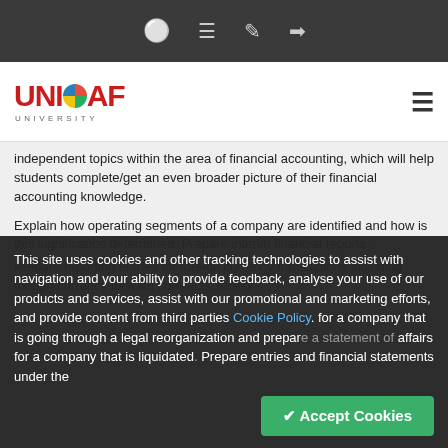UNICAF UNIVERSITY — navigation bar with icons and logo
independent topics within the area of financial accounting, which will help students complete/get an even broader picture of their financial accounting knowledge.
Explain how operating segments of a company are identified and how is this significance determined. Prepare interim financial reports.
Prepare reporting entries for foreign currency transactions including foreign currency forward contracts, foreign
This site uses cookies and other tracking technologies to assist with navigation and your ability to provide feedback, analyse your use of our products and services, assist with our promotional and marketing efforts, and provide content from third parties Cookie Policy for a company that is going through a legal reorganization and prepare a statement of affairs for a company that is liquidated. Prepare entries and financial statements under the
Accept Cookies